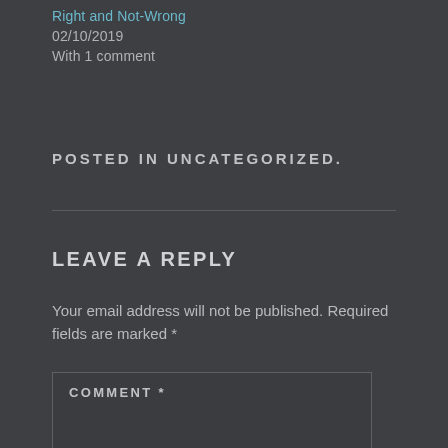Right and Not-Wrong
02/10/2019
With 1 comment
POSTED IN UNCATEGORIZED.
LEAVE A REPLY
Your email address will not be published. Required fields are marked *
COMMENT *